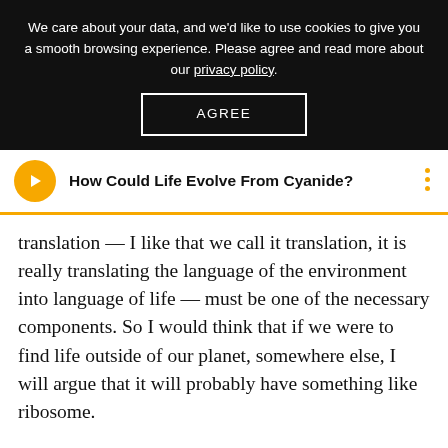We care about your data, and we'd like to use cookies to give you a smooth browsing experience. Please agree and read more about our privacy policy.
AGREE
How Could Life Evolve From Cyanide?
translation — I like that we call it translation, it is really translating the language of the environment into language of life — must be one of the necessary components. So I would think that if we were to find life outside of our planet, somewhere else, I will argue that it will probably have something like ribosome.
Strogatz (29:39): I feel like we should still talk a